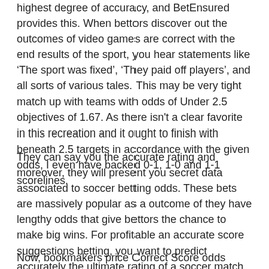highest degree of accuracy, and BetEnsured provides this. When bettors discover out the outcomes of video games are correct with the end results of the sport, you hear statements like ‘The sport was fixed’, ‘They paid off players’, and all sorts of various tales. This may be very tight match up with teams with odds of Under 2.5 objectives of 1.67. As there isn't a clear favorite in this recreation and it ought to finish with beneath 2.5 targets in accordance with the given odds, I even have backed 0-1, 1-0 and 1-1 scorelines.
They can say you the accurate rating and moreover, they will present you secret data associated to soccer betting odds. These bets are massively popular as a outcome of they have lengthy odds that give bettors the chance to make big wins. For profitable an accurate score suggestions betting, you want to predict accurately the ultimate rating of a soccer match that you are placing your bets on. It ought to be actual and there https://map001.online/xp2-the-live-chat-possibility might be no risk for errors. Due to this purpose, yow will discover an excellent value appropriate rating prediction from our most trusted website.
Now, bookmakers price Correct Score odds primarily based on a number of elements. Namely, the chance of the group profitable, the